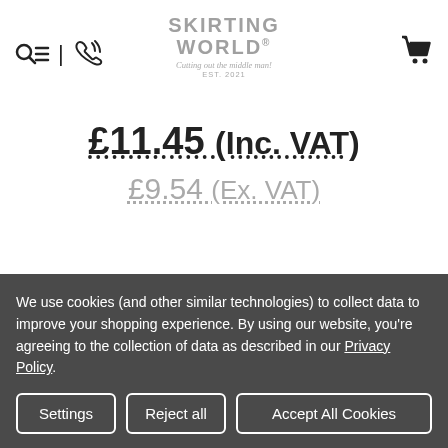Skirting World - Cutting out the middle man! EST. 2021
£11.45 (Inc. VAT)
£9.54 (Ex. VAT)
We use cookies (and other similar technologies) to collect data to improve your shopping experience. By using our website, you're agreeing to the collection of data as described in our Privacy Policy.
Settings | Reject all | Accept All Cookies